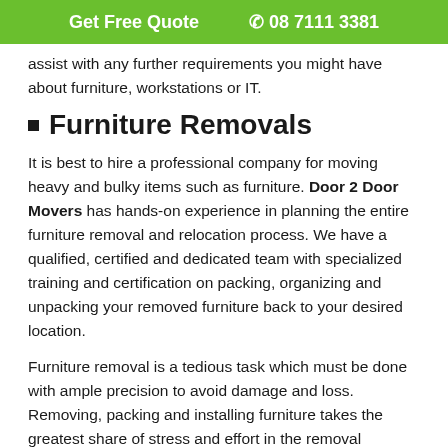Get Free Quote  📞 08 7111 3381
assist with any further requirements you might have about furniture, workstations or IT.
Furniture Removals
It is best to hire a professional company for moving heavy and bulky items such as furniture. Door 2 Door Movers has hands-on experience in planning the entire furniture removal and relocation process. We have a qualified, certified and dedicated team with specialized training and certification on packing, organizing and unpacking your removed furniture back to your desired location.
Furniture removal is a tedious task which must be done with ample precision to avoid damage and loss. Removing, packing and installing furniture takes the greatest share of stress and effort in the removal process. We are the best furniture removalists of Tailem Bend with skilled professionals and